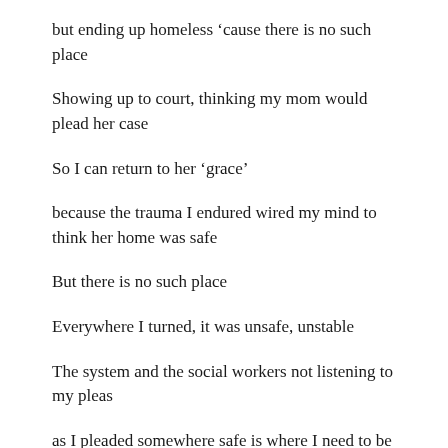but ending up homeless ‘cause there is no such place
Showing up to court, thinking my mom would plead her case
So I can return to her ‘grace’
because the trauma I endured wired my mind to think her home was safe
But there is no such place
Everywhere I turned, it was unsafe, unstable
The system and the social workers not listening to my pleas
as I pleaded somewhere safe is where I need to be
Safety, to me, was the dance teacher who helped me express through movement